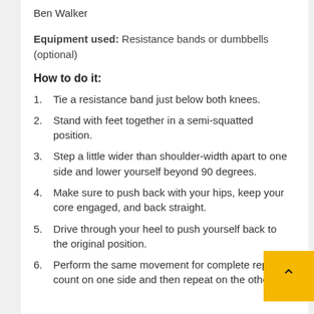Ben Walker
Equipment used:  Resistance bands or dumbbells (optional)
How to do it:
Tie a resistance band just below both knees.
Stand with feet together in a semi-squatted position.
Step a little wider than shoulder-width apart to one side and lower yourself beyond 90 degrees.
Make sure to push back with your hips, keep your core engaged, and back straight.
Drive through your heel to push yourself back to the original position.
Perform the same movement for complete rep count on one side and then repeat on the other leg.